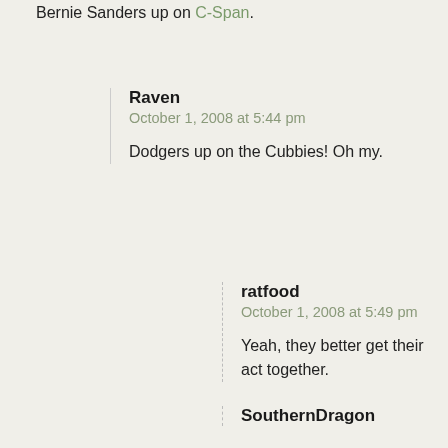Bernie Sanders up on C-Span.
Raven
October 1, 2008 at 5:44 pm
Dodgers up on the Cubbies! Oh my.
ratfood
October 1, 2008 at 5:49 pm
Yeah, they better get their act together.
SouthernDragon